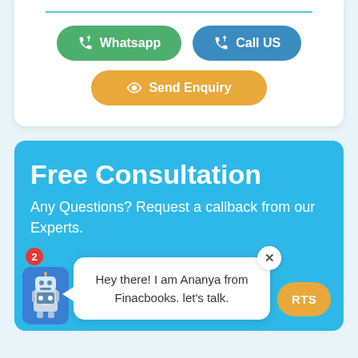[Figure (screenshot): Top white card section with horizontal teal divider line and three buttons: green Whatsapp button, blue Call US button, and orange Send Enquiry button]
[Figure (screenshot): Blue Free Consultation card with title 'Free Consultation', subtitle 'Any Questions? Request a callback from our Experts.', a chat popup with robot avatar showing message 'Hey there! I am Ananya from Finacbooks. let's talk.', a close X button, a notification badge showing 2, and an orange RTSEXPERTS button]